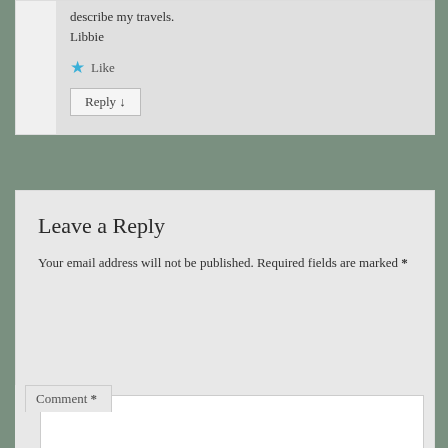describe my travels.
Libbie
Like
Reply ↓
Leave a Reply
Your email address will not be published. Required fields are marked *
Comment *